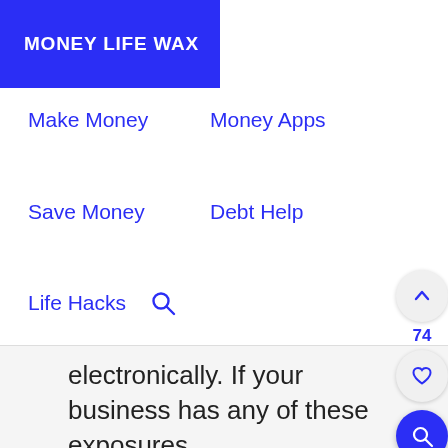MONEY LIFE WAX
Make Money
Money Apps
Save Money
Debt Help
Life Hacks
electronically. If your business has any of these exposures,
you will want to investigate the various types of cyber